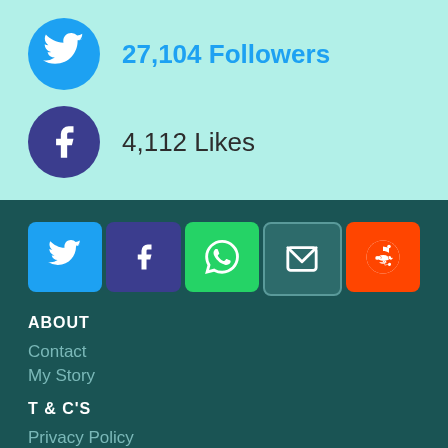27,104 Followers
4,112 Likes
[Figure (infographic): Row of five social share buttons: Twitter (blue), Facebook (dark blue/purple), WhatsApp (green), Email (teal/dark), Reddit (orange)]
ABOUT
Contact
My Story
T & C'S
Privacy Policy
Disclaimer